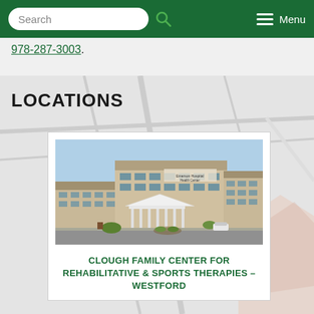Search  Menu
978-287-3003.
LOCATIONS
[Figure (photo): Exterior photo of Emerson Hospital Health Center building, a modern multi-story tan and glass medical office building with a white canopy entrance, blue sky background, and landscaping in front.]
CLOUGH FAMILY CENTER FOR REHABILITATIVE & SPORTS THERAPIES – WESTFORD